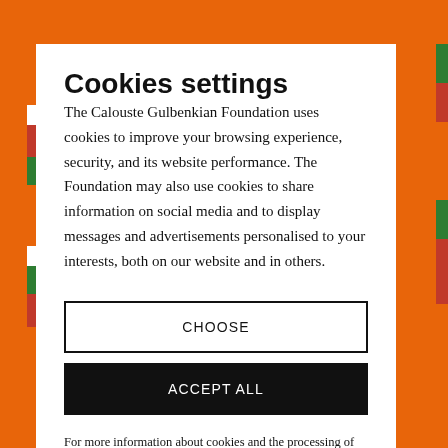Cookies settings
The Calouste Gulbenkian Foundation uses cookies to improve your browsing experience, security, and its website performance. The Foundation may also use cookies to share information on social media and to display messages and advertisements personalised to your interests, both on our website and in others.
CHOOSE
ACCEPT ALL
For more information about cookies and the processing of your